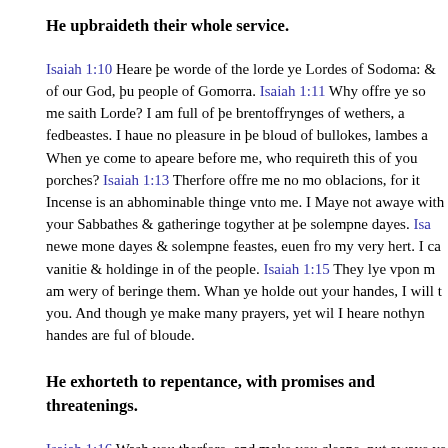He upbraideth their whole service.
Isaiah 1:10 Heare þe worde of the lorde ye Lordes of Sodoma: & of our God, þu people of Gomorra. Isaiah 1:11 Why offre ye so me saith Lorde? I am full of þe brentoffrynges of wethers, an fedbeastes. I haue no pleasure in þe bloud of bullokes, lambes am When ye come to apeare before me, who requireth this of you porches? Isaiah 1:13 Therfore offre me no mo oblacions, for it Incense is an abhominable thinge vnto me. I Maye not awaye with your Sabbathes & gatheringe togyther at þe solempne dayes. Isa newe mone dayes & solempne feastes, euen fro my very hert. I ca vanitie & holdinge in of the people. Isaiah 1:15 They lye vpon m am wery of beringe them. Whan ye holde out your handes, I will t you. And though ye make many prayers, yet wil I heare nothyn handes are ful of bloude.
He exhorteth to repentance, with promises and threatenings.
Isaiah 1:16 Wash you therfore, and make you cleane, put awaye ye of my syght, cease from doynge of euell. Isaiah 1:17 Lerne to d selues to equite, delyuer þe oppressed, helpe þe fatherles to his ry complainte come before you. Isaiah 1:18 Come I praye ye (say reason oure matter together. Though youre sinnes be as read as s white as snowe. And though they were lyke purple, they shalb